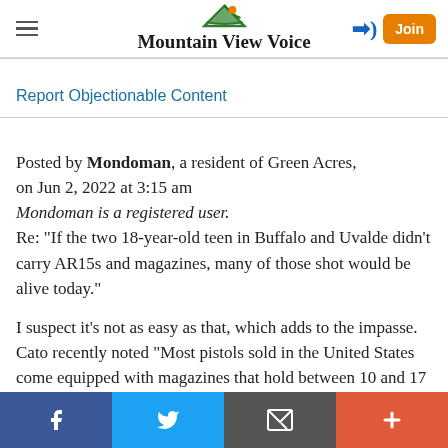Mountain View Voice
Report Objectionable Content
Posted by Mondoman, a resident of Green Acres, on Jun 2, 2022 at 3:15 am
Mondoman is a registered user.
Re: "If the two 18-year-old teen in Buffalo and Uvalde didn't carry AR15s and magazines, many of those shot would be alive today."

I suspect it's not as easy as that, which adds to the impasse. Cato recently noted "Most pistols sold in the United States come equipped with magazines that hold between 10 and 17 rounds. In fact, those holding 10
f  Twitter  Email  +